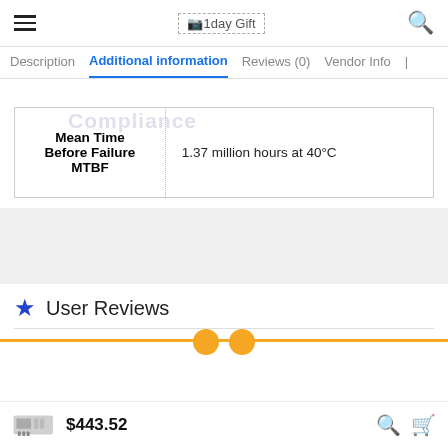1day Gift
Description | Additional information | Reviews (0) | Vendor Info
|  |  |
| --- | --- |
| Mean Time Before Failure MTBF | 1.37 million hours at 40°C |
User Reviews
$443.52